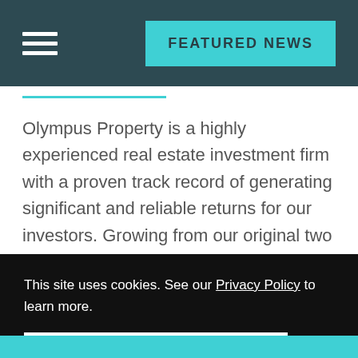FEATURED NEWS
Olympus Property is a highly experienced real estate investment firm with a proven track record of generating significant and reliable returns for our investors. Growing from our original two units in 1992 to over 25,000 multifamily units today,
This site uses cookies. See our Privacy Policy to learn more.
Okay, Got it